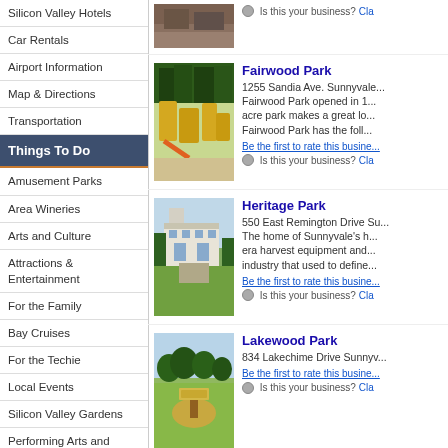Silicon Valley Hotels
Car Rentals
Airport Information
Map & Directions
Transportation
Things To Do
Amusement Parks
Area Wineries
Arts and Culture
Attractions & Entertainment
For the Family
Bay Cruises
For the Techie
Local Events
Silicon Valley Gardens
Performing Arts and Theatre
Movie Theaters
Museums
Odd and Interesting
Silicon Valley Historical Sites
Sightseeing & Tours
Silicon Valley Festivals
Theatre & Concert Venues
Arena & Stadium Venues
[Figure (photo): Park photo at top]
Is this your business? Cla...
[Figure (photo): Fairwood Park playground photo]
Fairwood Park
1255 Sandia Ave. Sunnyvale... Fairwood Park opened in 1... acre park makes a great lo... Fairwood Park has the foll...
Be the first to rate this busine...
Is this your business? Cla...
[Figure (photo): Heritage Park building photo]
Heritage Park
550 East Remington Drive Su... The home of Sunnyvale's h... era harvest equipment and... industry that used to define...
Be the first to rate this busine...
Is this your business? Cla...
[Figure (photo): Lakewood Park photo with sign]
Lakewood Park
834 Lakechime Drive Sunnyv...
Be the first to rate this busine...
Is this your business? Cla...